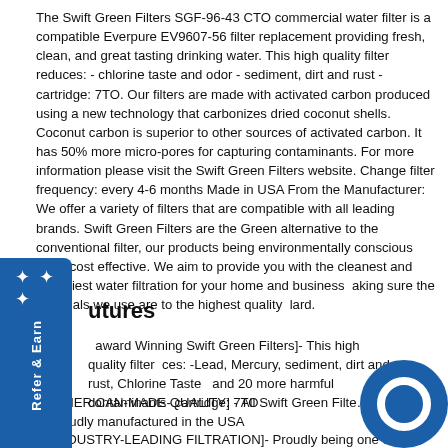The Swift Green Filters SGF-96-43 CTO commercial water filter is a compatible Everpure EV9607-56 filter replacement providing fresh, clean, and great tasting drinking water. This high quality filter reduces: - chlorine taste and odor - sediment, dirt and rust - cartridge: 7TO. Our filters are made with activated carbon produced using a new technology that carbonizes dried coconut shells. Coconut carbon is superior to other sources of activated carbon. It has 50% more micro-pores for capturing contaminants. For more information please visit the Swift Green Filters website. Change filter frequency: every 4-6 months Made in USA From the Manufacturer: We offer a variety of filters that are compatible with all leading brands. Swift Green Filters are the Green alternative to the conventional filter, our products being environmentally conscious while cost effective. We aim to provide you with the cleanest and healthiest water filtration for your home and business making sure the materials we use are to the highest quality standard.
utures
[Award Winning Swift Green Filters]- This high quality filter reduces: -Lead, Mercury, sediment, dirt and rust, Chlorine Taste, and 20 more harmful contaminants- cartridge: 7TO
[AMERICAN-MADE QUALITY] - All Swift Green Filters proudly manufactured in the USA
[INDUSTRY-LEADING FILTRATION]- Proudly being one of...